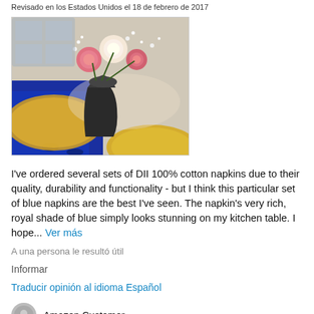Revisado en los Estados Unidos el 18 de febrero de 2017
[Figure (photo): Photo of a table setting with blue napkins, yellow woven placemats, and a dark vase with pink and white roses and baby's breath flowers]
I've ordered several sets of DII 100% cotton napkins due to their quality, durability and functionality - but I think this particular set of blue napkins are the best I've seen. The napkin's very rich, royal shade of blue simply looks stunning on my kitchen table. I hope... Ver más
A una persona le resultó útil
Informar
Traducir opinión al idioma Español
Amazon Customer